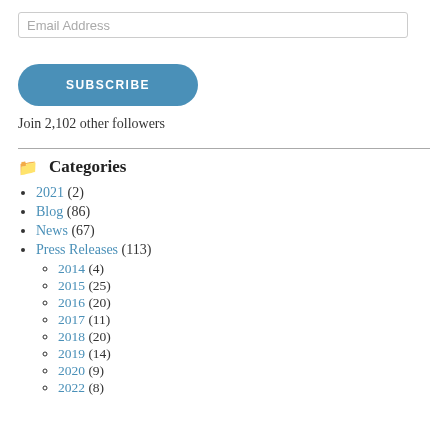Email Address
SUBSCRIBE
Join 2,102 other followers
Categories
2021 (2)
Blog (86)
News (67)
Press Releases (113)
2014 (4)
2015 (25)
2016 (20)
2017 (11)
2018 (20)
2019 (14)
2020 (9)
2022 (8)